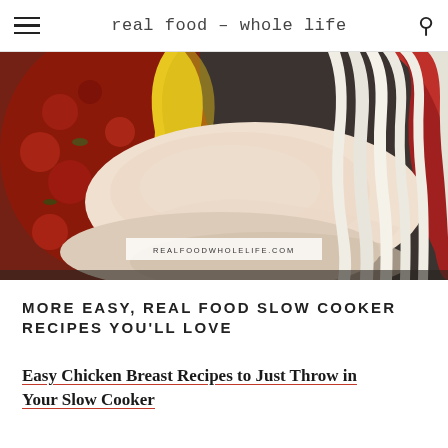real food – whole life
[Figure (photo): Raw chicken breasts in a slow cooker with salsa, sliced onions, bell peppers (yellow and red) visible. Watermark reads REALFOODWHOLELIFE.COM]
MORE EASY, REAL FOOD SLOW COOKER RECIPES YOU'LL LOVE
Easy Chicken Breast Recipes to Just Throw in Your Slow Cooker